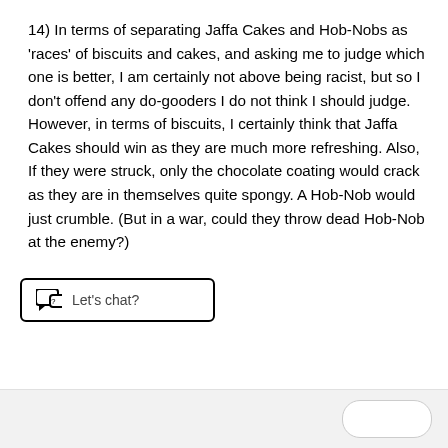14) In terms of separating Jaffa Cakes and Hob-Nobs as 'races' of biscuits and cakes, and asking me to judge which one is better, I am certainly not above being racist, but so I don't offend any do-gooders I do not think I should judge. However, in terms of biscuits, I certainly think that Jaffa Cakes should win as they are much more refreshing. Also, If they were struck, only the chocolate coating would crack as they are in themselves quite spongy. A Hob-Nob would just crumble. (But in a war, could they throw dead Hob-Nob at the enemy?)
[Figure (other): Chat button widget with speech bubble icon and 'Let's chat?' text]